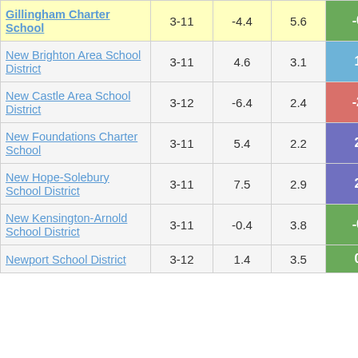| School/District | Grades | Col3 | Col4 | Col5 |
| --- | --- | --- | --- | --- |
| Gillingham Charter School | 3-11 | -4.4 | 5.6 | -0.77 |
| New Brighton Area School District | 3-11 | 4.6 | 3.1 | 1.47 |
| New Castle Area School District | 3-12 | -6.4 | 2.4 | -2.66 |
| New Foundations Charter School | 3-11 | 5.4 | 2.2 | 2.41 |
| New Hope-Solebury School District | 3-11 | 7.5 | 2.9 | 2.57 |
| New Kensington-Arnold School District | 3-11 | -0.4 | 3.8 | -0.10 |
| Newport School District | 3-12 | 1.4 | 3.5 | 0.41 |